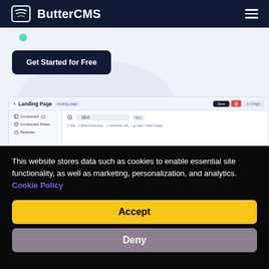ButterCMS
[Figure (screenshot): ButterCMS website screenshot showing a 'Get Started for Free' button and a CMS landing page editor interface with Component, Component Picker, Repeater panels and SEO fields]
This website stores data such as cookies to enable essential site functionality, as well as marketing, personalization, and analytics. Cookie Policy
Accept
Deny